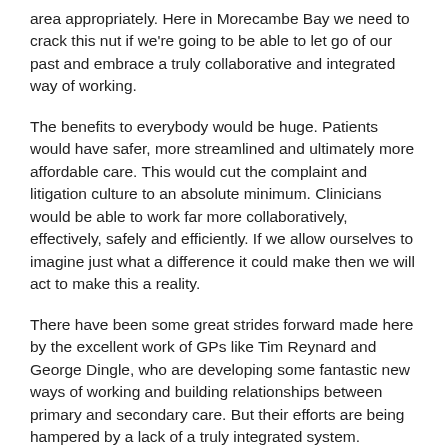area appropriately. Here in Morecambe Bay we need to crack this nut if we're going to be able to let go of our past and embrace a truly collaborative and integrated way of working.
The benefits to everybody would be huge. Patients would have safer, more streamlined and ultimately more affordable care. This would cut the complaint and litigation culture to an absolute minimum. Clinicians would be able to work far more collaboratively, effectively, safely and efficiently. If we allow ourselves to imagine just what a difference it could make then we will act to make this a reality.
There have been some great strides forward made here by the excellent work of GPs like Tim Reynard and George Dingle, who are developing some fantastic new ways of working and building relationships between primary and secondary care. But their efforts are being hampered by a lack of a truly integrated system.
As just one example, take the referral process. If a patient comes to me asking for a referral, which may also require some complex tests to